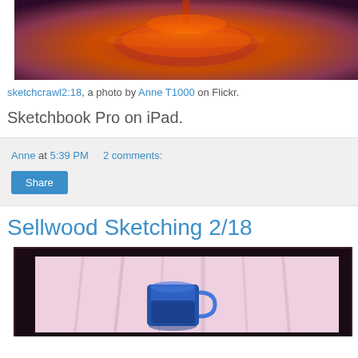[Figure (photo): Digital painting of a glowing red/orange lamp or candle against a warm orange and dark purple background, created with Sketchbook Pro on iPad.]
sketchcrawl2:18, a photo by Anne T1000 on Flickr.
Sketchbook Pro on iPad.
Anne at 5:39 PM    2 comments:
Share
Sellwood Sketching 2/18
[Figure (photo): Digital painting showing a blue mug on a pink/lavender cloth or curtain background, dark border around the scene, created with Sketchbook Pro.]